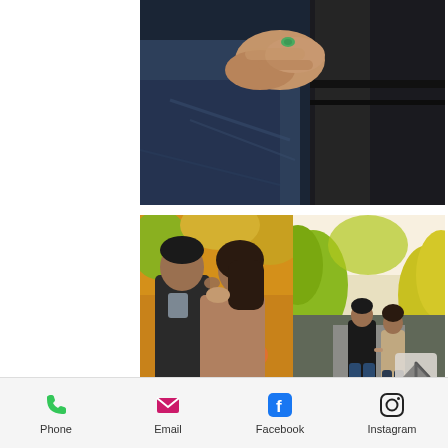[Figure (photo): Close-up photo of a couple's hands intertwined, person wearing dark jeans and woman wearing tall black leather boots, green ring visible]
[Figure (photo): Two engagement/couple photos side by side: left shows couple kissing in autumn setting with pumpkins and fall foliage; right shows couple holding hands walking on a path surrounded by yellow-green autumn trees, with a scroll-up arrow button overlay]
[Figure (infographic): Mobile app bottom navigation bar with four icons: Phone (green phone icon), Email (pink/magenta envelope icon), Facebook (blue Facebook 'f' icon), Instagram (black Instagram camera icon), each with text labels below]